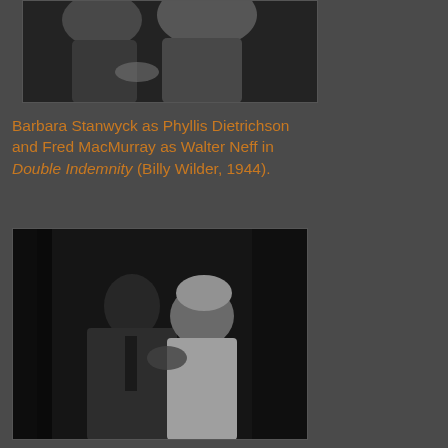[Figure (photo): Black and white film still showing two figures from behind, close together, hands clasped — top portion of image visible]
Barbara Stanwyck as Phyllis Dietrichson and Fred MacMurray as Walter Neff in Double Indemnity (Billy Wilder, 1944).
[Figure (photo): Black and white film still of a man and woman in a close embrace/kiss, the man in a suit leaning over the woman]